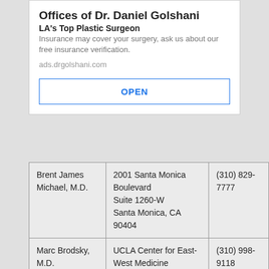Offices of Dr. Daniel Golshani
LA's Top Plastic Surgeon
Insurance may cover your surgery, ask us about our free insurance verification.
ads.drgolshani.com
OPEN
| Name | Address | Phone |
| --- | --- | --- |
| Brent James Michael, M.D. | 2001 Santa Monica Boulevard
Suite 1260-W
Santa Monica, CA 90404 | (310) 829-7777 |
| Marc Brodsky, M.D. | UCLA Center for East-West Medicine
2428 Santa Monica Boulevard Unit # 208 | (310) 998-9118 |